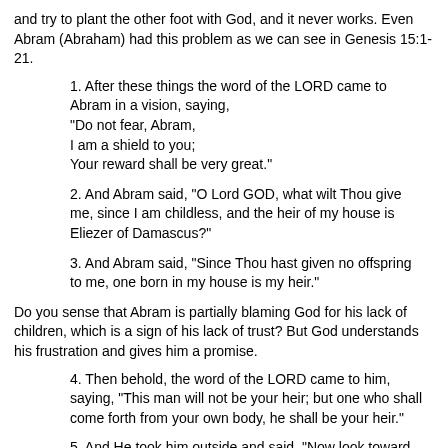and try to plant the other foot with God, and it never works. Even Abram (Abraham) had this problem as we can see in Genesis 15:1-21.
1. After these things the word of the LORD came to Abram in a vision, saying,
"Do not fear, Abram,
I am a shield to you;
Your reward shall be very great."
2. And Abram said, "O Lord GOD, what wilt Thou give me, since I am childless, and the heir of my house is Eliezer of Damascus?"
3. And Abram said, "Since Thou hast given no offspring to me, one born in my house is my heir."
Do you sense that Abram is partially blaming God for his lack of children, which is a sign of his lack of trust? But God understands his frustration and gives him a promise.
4. Then behold, the word of the LORD came to him, saying, "This man will not be your heir; but one who shall come forth from your own body, he shall be your heir."
5. And He took him outside and said, "Now look toward the heavens, and count the stars, if you are able to count them." And He said to him, "So shall your descendants be."
6. Then he believed in the LORD; and He reckoned it to him as righteousness.
7. And He said to him, "I am the LORD who brought you out of Ur of the Chaldeans, to give you this land to possess it."